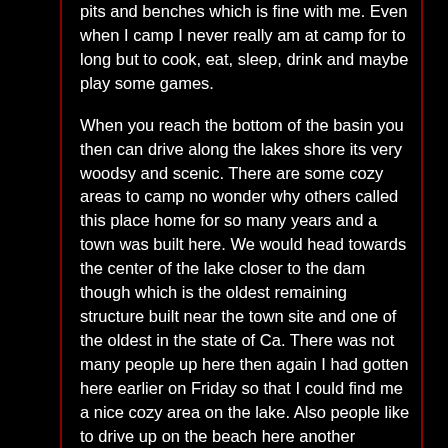pits and benches which is fine with me. Even when I camp I never really am at camp for to long but to cook, eat, sleep, drink and maybe play some games.
When you reach the bottom of the basin you then can drive along the lakes shore its very woodsy and scenic. There are some cozy areas to camp no wonder why others called this place home for so many years and a town was built here. We would head towards the center of the lake closer to the dam though which is the oldest remaining structure built near the town site and one of the oldest in the state of Ca. There was not many people up here then again I had gotten here earlier on Friday so that I could find me a nice cozy area on the lake. Also people like to drive up on the beach here another awesome benefit of visiting the lake.